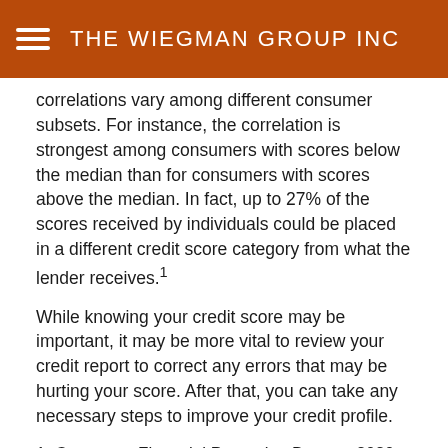THE WIEGMAN GROUP INC
correlations vary among different consumer subsets. For instance, the correlation is strongest among consumers with scores below the median than for consumers with scores above the median. In fact, up to 27% of the scores received by individuals could be placed in a different credit score category from what the lender receives.¹
While knowing your credit score may be important, it may be more vital to review your credit report to correct any errors that may be hurting your score. After that, you can take any necessary steps to improve your credit profile.
1. Consumer Financial Protection Bureau, 2020
The content is developed from sources believed to be providing accurate information. The information in this material is not intended as tax or legal advice. It may not be used for the purpose of avoiding any federal tax penalties. Please consult legal or tax